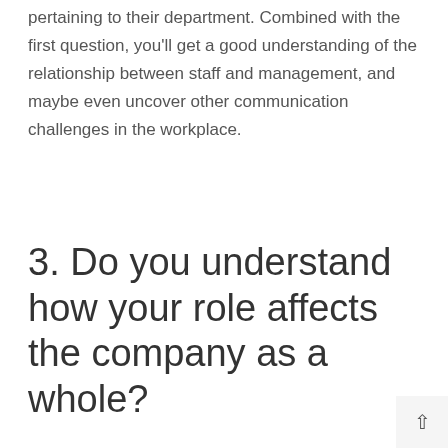pertaining to their department. Combined with the first question, you'll get a good understanding of the relationship between staff and management, and maybe even uncover other communication challenges in the workplace.
3. Do you understand how your role affects the company as a whole?
Mobile workers frequently feel out of the loop when it comes to company communication. Asking for employee feedback will assess whether or not your company has an effective team